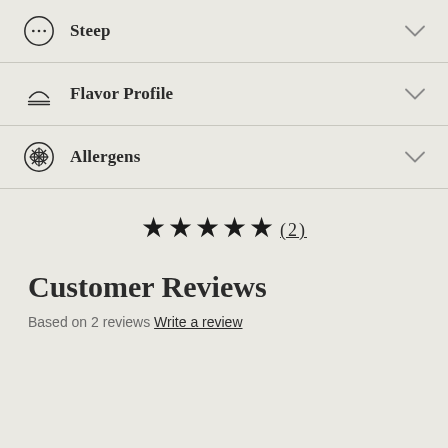Steep
Flavor Profile
Allergens
[Figure (other): Five black star icons followed by (2) in parentheses indicating a 5-star rating with 2 reviews]
Customer Reviews
Based on 2 reviews Write a review